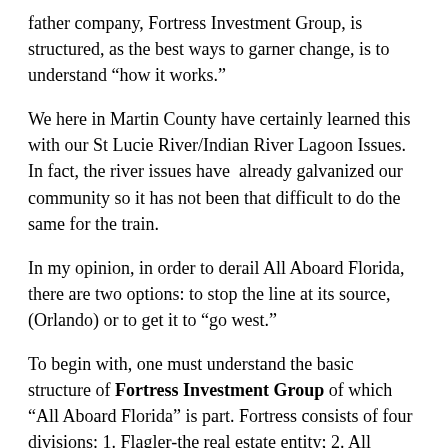father company, Fortress Investment Group, is structured, as the best ways to garner change, is to understand “how it works.”
We here in Martin County have certainly learned this with our St Lucie River/Indian River Lagoon Issues. In fact, the river issues have already galvanized our community so it has not been that difficult to do the same for the train.
In my opinion, in order to derail All Aboard Florida, there are two options: to stop the line at its source, (Orlando) or to get it to “go west.”
To begin with, one must understand the basic structure of Fortress Investment Group of which “All Aboard Florida” is part. Fortress consists of four divisions: 1. Flagler-the real estate entity; 2. All Abroad Florida-supposedely the first “private” rail system in America; 3. Flagler Global Logistics-a logistics solution group; and 4. ROW (Right of